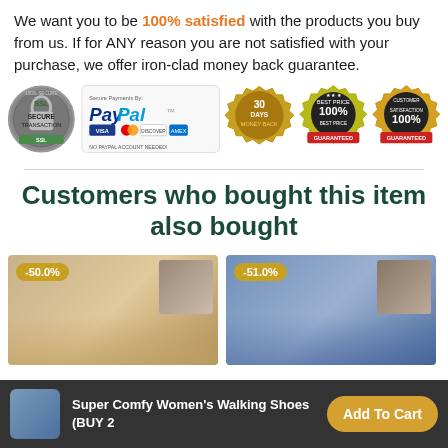We want you to be 100% satisfied with the products you buy from us. If for ANY reason you are not satisfied with your purchase, we offer iron-clad money back guarantee.
[Figure (infographic): Trust badges row: SSL Secure Transaction badge, PayPal Secure Payments (Visa, Mastercard, Discover, Amex) badge, 30 Days Money Back badge, 100% Best Price Guaranteed badge, 100% Customer Satisfaction Guaranteed badge]
Customers who bought this item also bought
[Figure (photo): Product card with -50.0% discount badge showing sandals/footwear product on warm background]
[Figure (photo): Product card with -51.0% discount badge showing footwear product on blue background]
Super Comfy Women's Walking Shoes (BUY 2
Add To Cart